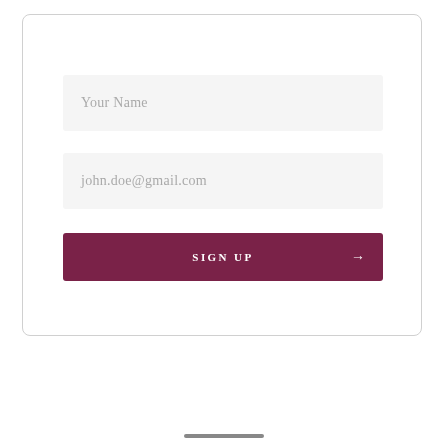[Figure (screenshot): A sign-up form UI with two input fields and a button. The first field shows placeholder text 'Your Name', the second field shows placeholder text 'john.doe@gmail.com', and a dark maroon button at the bottom reads 'SIGN UP' with a right-pointing arrow on the right side. The form is inside a white card with a light border.]